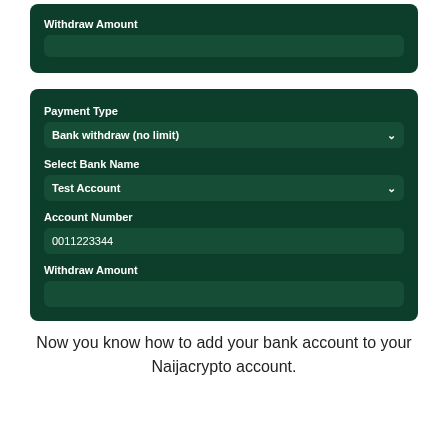[Figure (screenshot): Top dark green card showing a Withdraw Amount label with an empty input field]
[Figure (screenshot): Bottom dark green card showing Payment Type dropdown with 'Bank withdraw (no limit)', Select Bank Name dropdown with 'Test Account', Account Number field with '0011223344', and Withdraw Amount empty field]
Now you know how to add your bank account to your Naijacrypto account.